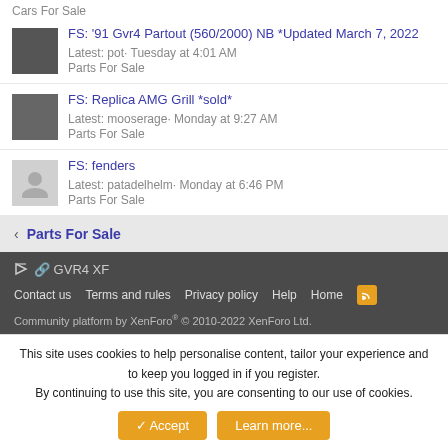Cars For Sale
FS: '91 Gvr4 Partout (560/2000) NB *Updated March 7, 2022 | Latest: pot· Tuesday at 4:01 AM | Parts For Sale
FS: Replica AMG Grill *sold* | Latest: mooserage· Monday at 9:27 AM | Parts For Sale
FS: fenders | Latest: patadelhelm· Monday at 6:46 PM | Parts For Sale
< Parts For Sale
GVR4 XF | Contact us | Terms and rules | Privacy policy | Help | Home | Community platform by XenForo® © 2010-2022 XenForo Ltd.
This site uses cookies to help personalise content, tailor your experience and to keep you logged in if you register.
By continuing to use this site, you are consenting to our use of cookies.